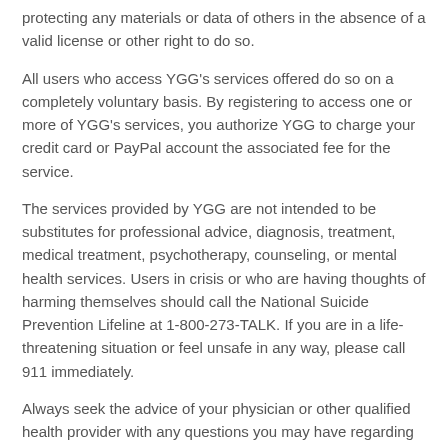protecting any materials or data of others in the absence of a valid license or other right to do so.
All users who access YGG's services offered do so on a completely voluntary basis. By registering to access one or more of YGG's services, you authorize YGG to charge your credit card or PayPal account the associated fee for the service.
The services provided by YGG are not intended to be substitutes for professional advice, diagnosis, treatment, medical treatment, psychotherapy, counseling, or mental health services. Users in crisis or who are having thoughts of harming themselves should call the National Suicide Prevention Lifeline at 1-800-273-TALK. If you are in a life-threatening situation or feel unsafe in any way, please call 911 immediately.
Always seek the advice of your physician or other qualified health provider with any questions you may have regarding any mental health symptom or medical condition. Never disregard professional psychological or medical advice or delay in seeking evaluation or treatment because of something you have read or posted on this website.
SITE CONTENTS AND OWNERSHIP